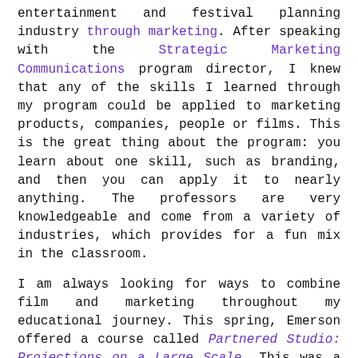entertainment and festival planning industry through marketing. After speaking with the Strategic Marketing Communications program director, I knew that any of the skills I learned through my program could be applied to marketing products, companies, people or films. This is the great thing about the program: you learn about one skill, such as branding, and then you can apply it to nearly anything. The professors are very knowledgeable and come from a variety of industries, which provides for a fun mix in the classroom.
I am always looking for ways to combine film and marketing throughout my educational journey. This spring, Emerson offered a course called Partnered Studio: Projections on a Large Scale. This was a joint course made up of graduate and senior undergraduate students in the Marketing, Visual Media Arts, and Writing, Literature and Publishing programs. I love these types of courses because they offer an opportunity to work with students from other departments and learn new skills.
This class was designed with the intention of projecting onto the white tarp encasing the Little Building while it was under construction. When the Little Building construction progressed faster than anticipated, making such projections impossible, our